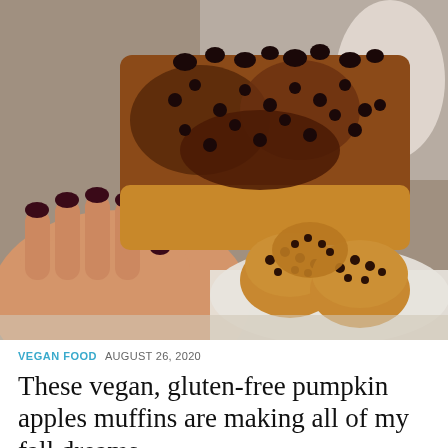[Figure (photo): A hand with dark red nail polish holds up a pumpkin muffin that has been broken in half, showing the interior with chocolate chips and a moist crumb. In the background on a white plate are several whole chocolate chip pumpkin muffins.]
VEGAN FOOD  AUGUST 26, 2020
These vegan, gluten-free pumpkin apples muffins are making all of my fall dreams